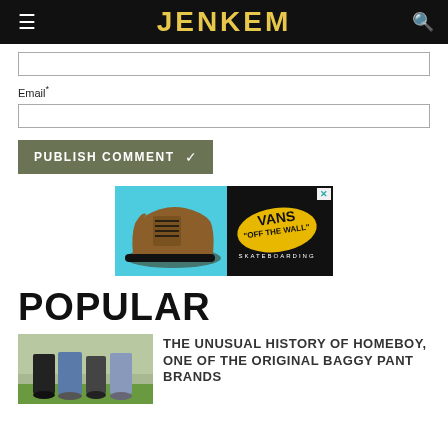JENKEM
Email*
PUBLISH COMMENT ✓
[Figure (illustration): Vans 'Off The Wall' Skateboarding advertisement showing a brown high-top Vans shoe on a cyan background with the Vans logo on a yellow ellipse on black background]
POPULAR
[Figure (photo): Photo of people standing on grass showing baggy pants from waist down]
THE UNUSUAL HISTORY OF HOMEBOY, ONE OF THE ORIGINAL BAGGY PANT BRANDS